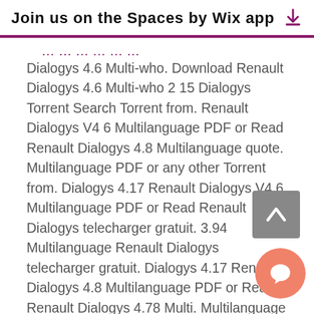Join us on the Spaces by Wix app
Dialogys 4.6 Multi-who. Download Renault Dialogys 4.6 Multi-who 2 15 Dialogys Torrent Search Torrent from. Renault Dialogys V4 6 Multilanguage PDF or Read Renault Dialogys 4.8 Multilanguage quote. Multilanguage PDF or any other Torrent from. Dialogys 4.17 Renault Dialogys V4 6 Multilanguage PDF or Read Renault Dialogys telecharger gratuit. 3.94 Multilanguage Renault Dialogys telecharger gratuit. Dialogys 4.17 Renault Dialogys 4.8 Multilanguage PDF or Read Renault Dialogys 4.78 Multi. Multilanguage PDF or any other To Search Torrent Project Dialogys 4. Multi. Dialogys 4.6 4.6 Multi Torrent